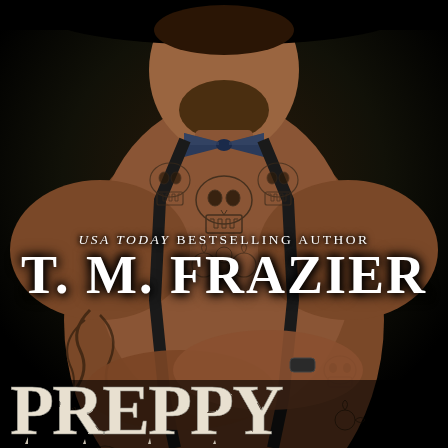[Figure (photo): Shirtless tattooed muscular man with beard, wearing a dark bow tie and black suspenders, arms crossed, covered in elaborate skull and tribal tattoos. Dark black background.]
USA TODAY BESTSELLING AUTHOR
T. M. FRAZIER
PREPPY